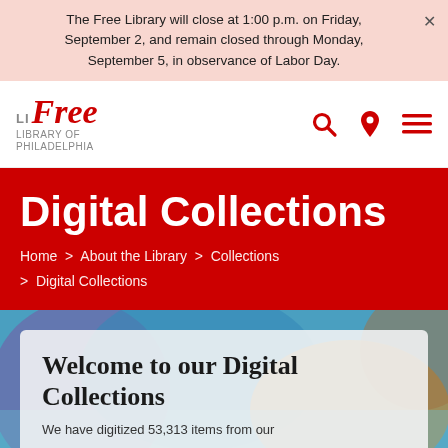The Free Library will close at 1:00 p.m. on Friday, September 2, and remain closed through Monday, September 5, in observance of Labor Day.
[Figure (logo): Free Library of Philadelphia logo with red stylized text]
Digital Collections
Home > About the Library > Collections > Digital Collections
Welcome to our Digital Collections
We have digitized 53,313 items from our